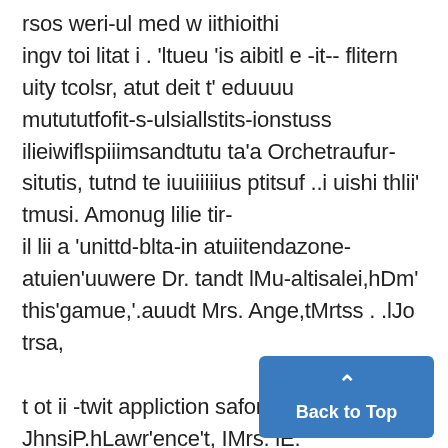rsos weri-ul med w iithioithi ingv toi litat i . 'ltueu 'is aibitl e -it-- flitern uity tcolsr, atut deit t' eduuuu mutututfofit-s-ulsiallstits-ionstuss ilieiwiflspiiimsandtutu ta'a Orchetraufur-situtis, tutnd te iuuiiiiius ptitsuf ..i uishi thlii' tmusi. Amonug lilie tir- il lii a 'unittd-blta-in atuiitendazone-atuien'uuwere Dr. tandt lMu-altisalei,hDm' this'gamue,'.auudt Mrs. Ange,tMrtss . .lJo trsa,
t ot ii -twit appliction safor :as .1ris. JhnsiP.hLawr'ence't, IMrs. iE. to-"ostin ug iou teaudiy, biut lii